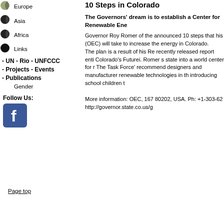Europe
Asia
Africa
Links
- UN - Rio - UNFCCC
- Projects - Events
- Publications
Gender
Follow Us:
[Figure (logo): Facebook logo icon, blue square with white 'f']
10 Steps in Colorado
The Governors' dream is to establish a Center for Renewable Energy
Governor Roy Romer of the announced 10 steps that his (OEC) will take to increase the energy in Colorado. The plan is a result of his Re recently released report enti Colorado's Futurei. Romer s state into a world center for r The Task Force' recommend designers and manufacturer renewable technologies in th introducing school children t
More information: OEC, 167 80202, USA. Ph: +1-303-62 http://governor.state.co.us/g
Page top